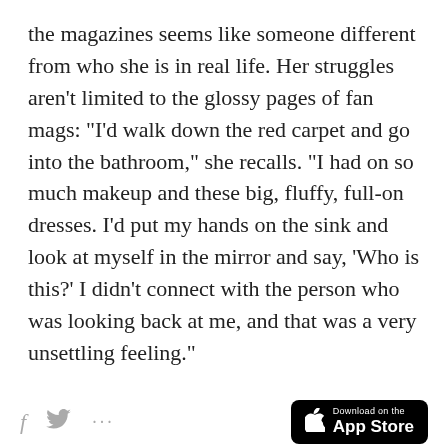the magazines seems like someone different from who she is in real life. Her struggles aren't limited to the glossy pages of fan mags: "I'd walk down the red carpet and go into the bathroom," she recalls. "I had on so much makeup and these big, fluffy, full-on dresses. I'd put my hands on the sink and look at myself in the mirror and say, 'Who is this?' I didn't connect with the person who was looking back at me, and that was a very unsettling feeling."
Imposter isn't the word you might associate with famous, talented, and successful people, but
f [twitter icon] ... Download on the App Store